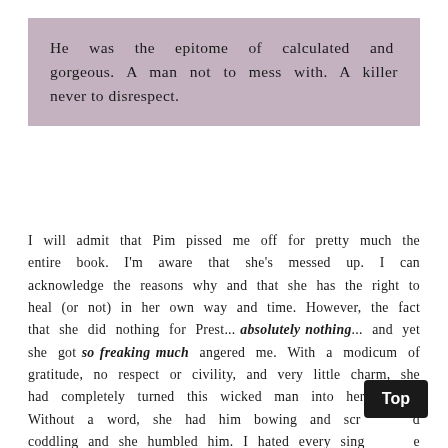He was the epitome of calculated and gorgeous. A man not to mess with. A killer never to disrespect.
I will admit that Pim pissed me off for pretty much the entire book. I'm aware that she's messed up. I can acknowledge the reasons why and that she has the right to heal (or not) in her own way and time. However, the fact that she did nothing for Prest... absolutely nothing... and yet she got so freaking much angered me. With a modicum of gratitude, no respect or civility, and very little charm, she had completely turned this wicked man into her puppet. Without a word, she had him bowing and scraping and coddling and she humbled him. I hated every single minute of it.